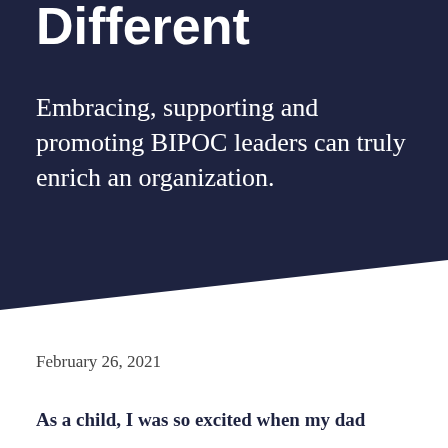Different
Embracing, supporting and promoting BIPOC leaders can truly enrich an organization.
February 26, 2021
As a child, I was so excited when my dad